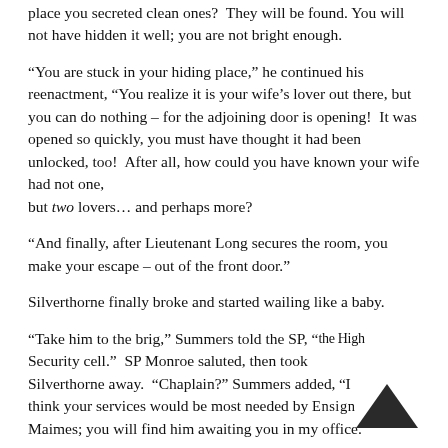place you secreted clean ones?  They will be found. You will not have hidden it well; you are not bright enough.
“You are stuck in your hiding place,” he continued his reenactment, “You realize it is your wife’s lover out there, but you can do nothing – for the adjoining door is opening!  It was opened so quickly, you must have thought it had been unlocked, too!  After all, how could you have known your wife had not one, but two lovers… and perhaps more?
“And finally, after Lieutenant Long secures the room, you make your escape – out of the front door.”
Silverthorne finally broke and started wailing like a baby.
“Take him to the brig,” Summers told the SP, “the High Security cell.”  SP Monroe saluted, then took Silverthorne away.  “Chaplain?” Summers added, “I think your services would be most needed by Ensign Maimes; you will find him awaiting you in my office.”
The Chaplain was a little lost, then shrugged and